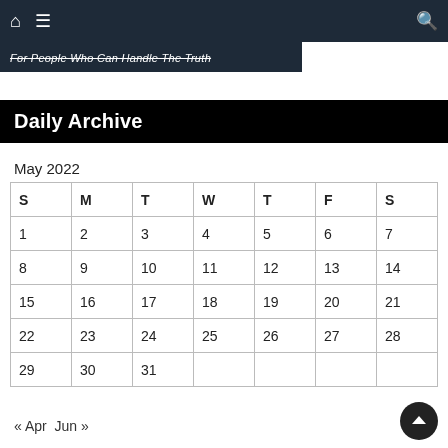For People Who Can Handle The Truth
Daily Archive
May 2022
| S | M | T | W | T | F | S |
| --- | --- | --- | --- | --- | --- | --- |
| 1 | 2 | 3 | 4 | 5 | 6 | 7 |
| 8 | 9 | 10 | 11 | 12 | 13 | 14 |
| 15 | 16 | 17 | 18 | 19 | 20 | 21 |
| 22 | 23 | 24 | 25 | 26 | 27 | 28 |
| 29 | 30 | 31 |  |  |  |  |
« Apr   Jun »